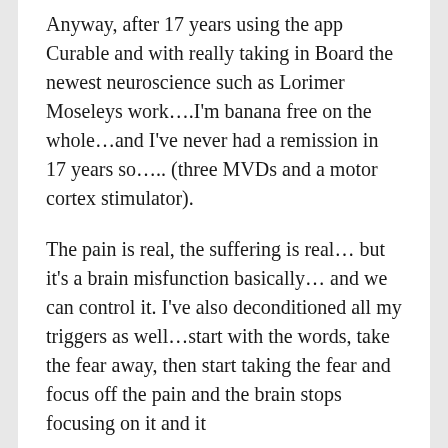Anyway, after 17 years using the app Curable and with really taking in Board the newest neuroscience such as Lorimer Moseleys work....I'm banana free on the whole...and I've never had a remission in 17 years so..... (three MVDs and a motor cortex stimulator).
The pain is real, the suffering is real... but it's a brain misfunction basically... and we can control it. I've also deconditioned all my triggers as well...start with the words, take the fear away, then start taking the fear and focus off the pain and the brain stops focusing on it and it